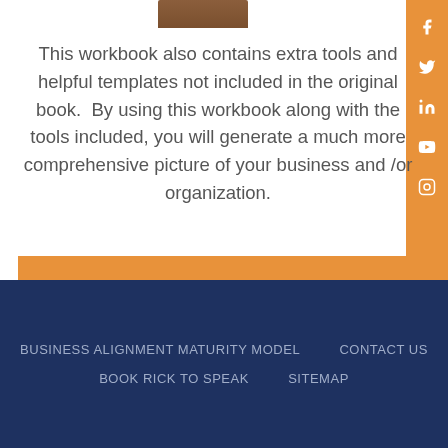[Figure (photo): Partial view of a brown book/workbook at the top of the page]
This workbook also contains extra tools and helpful templates not included in the original book.  By using this workbook along with the tools included, you will generate a much more comprehensive picture of your business and /or organization.
INSTANT DOWNLOAD $40.00
BUSINESS ALIGNMENT MATURITY MODEL   CONTACT US   BOOK RICK TO SPEAK   SITEMAP